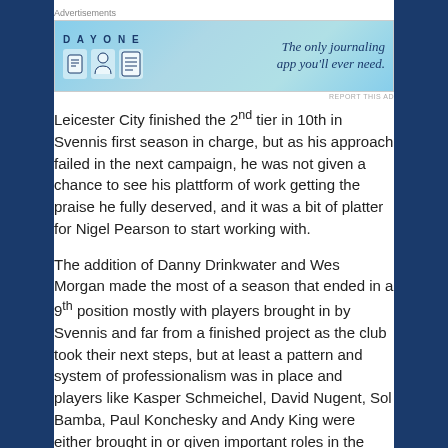[Figure (other): Day One journaling app advertisement banner with blue background, icons of a notebook, person, and document, with text 'The only journaling app you'll ever need.']
Leicester City finished the 2nd tier in 10th in Svennis first season in charge, but as his approach failed in the next campaign, he was not given a chance to see his plattform of work getting the praise he fully deserved, and it was a bit of platter for Nigel Pearson to start working with.
The addition of Danny Drinkwater and Wes Morgan made the most of a season that ended in a 9th position mostly with players brought in by Svennis and far from a finished project as the club took their next steps, but at least a pattern and system of professionalism was in place and players like Kasper Schmeichel, David Nugent, Sol Bamba, Paul Konchesky and Andy King were either brought in or given important roles in the team.